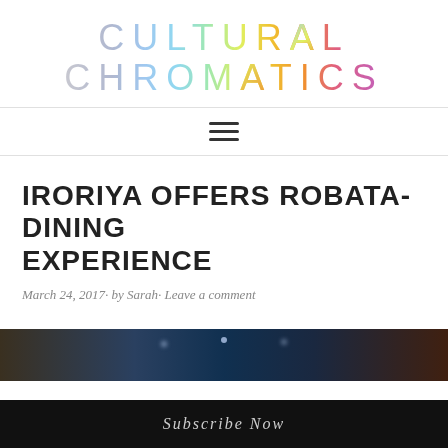CULTURAL CHROMATICS
[Figure (other): Hamburger menu icon (three horizontal lines)]
IRORIYA OFFERS ROBATA-DINING EXPERIENCE
March 24, 2017· by Sarah· Leave a comment
[Figure (photo): Dark restaurant/food photo with bokeh lights]
Subscribe Now